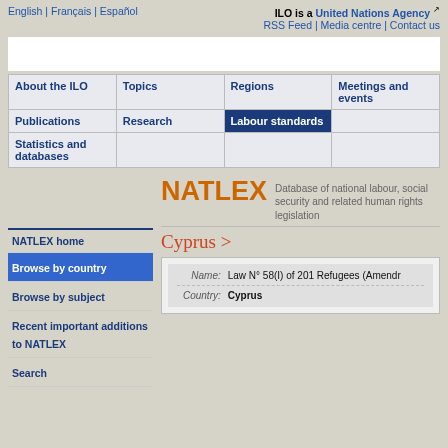English | Français | Español    ILO is a United Nations Agency    RSS Feed | Media centre | Contact us
[Figure (screenshot): White banner/advertisement area]
| About the ILO | Topics | Regions | Meetings and events |
| --- | --- | --- | --- |
| Publications | Research | Labour standards |  |
| Statistics and databases |  |  |  |
NATLEX  Database of national labour, social security and related human rights legislation
Cyprus >
NATLEX home
Browse by country
Browse by subject
Recent important additions to NATLEX
Search
| Name: | Country: |
| --- | --- |
| Law N° 58(I) of 201 Refugees (Amendr | Cyprus |